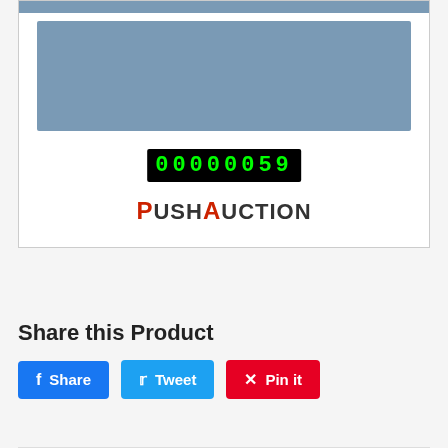[Figure (screenshot): Product listing box with blue-gray image area, LED counter display showing 00000059, and PushAuction logo]
Share this Product
Share   Tweet   Pin it